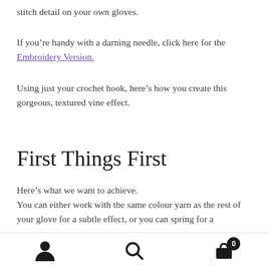stitch detail on your own gloves.
If you’re handy with a darning needle, click here for the Embroidery Version.
Using just your crochet hook, here’s how you create this gorgeous, textured vine effect.
First Things First
Here’s what we want to achieve.
You can either work with the same colour yarn as the rest of your glove for a subtle effect, or you can spring for a